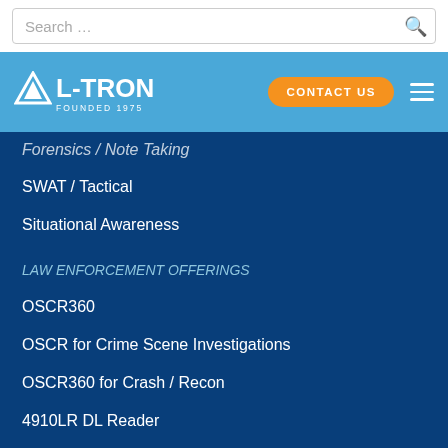Search ...
[Figure (logo): L-TRON logo with mountain/triangle icon, Founded 1975, on blue navigation bar with orange CONTACT US button and hamburger menu]
Forensics / Note Taking (truncated)
SWAT / Tactical
Situational Awareness
LAW ENFORCEMENT OFFERINGS
OSCR360
OSCR for Crime Scene Investigations
OSCR360 for Crash / Recon
4910LR DL Reader
Patrol Vehicle Equipment
Thermal Media
Light Grenade
GOVERNMENT/PUBLIC SECTOR